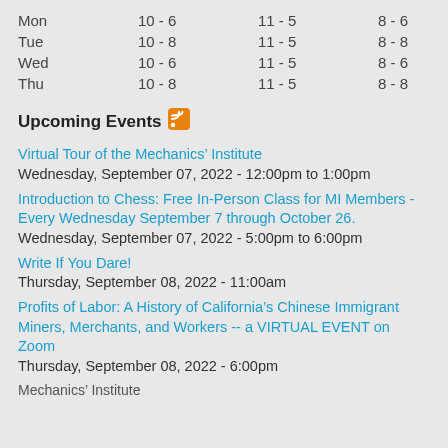| Day | Col1 | Col2 | Col3 |
| --- | --- | --- | --- |
| Mon | 10 - 6 | 11 - 5 | 8 - 6 |
| Tue | 10 - 8 | 11 - 5 | 8 - 8 |
| Wed | 10 - 6 | 11 - 5 | 8 - 6 |
| Thu | 10 - 8 | 11 - 5 | 8 - 8 |
Upcoming Events
Virtual Tour of the Mechanics' Institute
Wednesday, September 07, 2022 - 12:00pm to 1:00pm
Introduction to Chess: Free In-Person Class for MI Members - Every Wednesday September 7 through October 26.
Wednesday, September 07, 2022 - 5:00pm to 6:00pm
Write If You Dare!
Thursday, September 08, 2022 - 11:00am
Profits of Labor: A History of California's Chinese Immigrant Miners, Merchants, and Workers -- a VIRTUAL EVENT on Zoom
Thursday, September 08, 2022 - 6:00pm
Mechanics' Institute